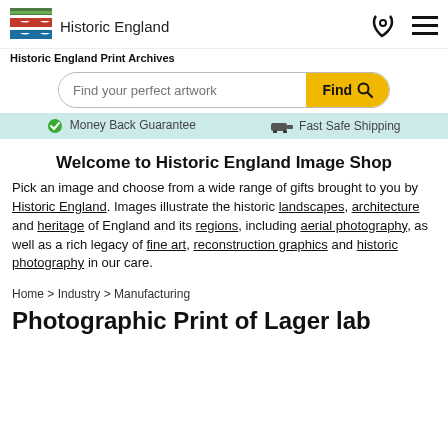[Figure (logo): Historic England logo with striped flag icon and text 'Historic England']
Historic England Print Archives
[Figure (screenshot): Search bar with placeholder 'Find your perfect artwork' and yellow 'Find' button with magnifying glass icon]
Money Back Guarantee   Fast Safe Shipping
Welcome to Historic England Image Shop
Pick an image and choose from a wide range of gifts brought to you by Historic England. Images illustrate the historic landscapes, architecture and heritage of England and its regions, including aerial photography, as well as a rich legacy of fine art, reconstruction graphics and historic photography in our care.
Home > Industry > Manufacturing
Photographic Print of Lager lab